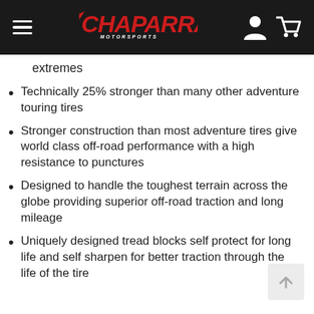Chaparral Motorsports
extremes
Technically 25% stronger than many other adventure touring tires
Stronger construction than most adventure tires give world class off-road performance with a high resistance to punctures
Designed to handle the toughest terrain across the globe providing superior off-road traction and long mileage
Uniquely designed tread blocks self protect for long life and self sharpen for better traction through the life of the tire